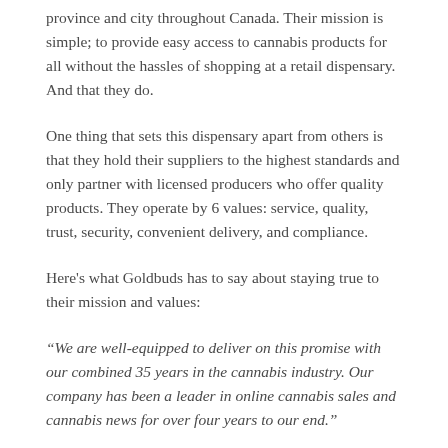province and city throughout Canada. Their mission is simple; to provide easy access to cannabis products for all without the hassles of shopping at a retail dispensary. And that they do.
One thing that sets this dispensary apart from others is that they hold their suppliers to the highest standards and only partner with licensed producers who offer quality products. They operate by 6 values: service, quality, trust, security, convenient delivery, and compliance.
Here's what Goldbuds has to say about staying true to their mission and values:
“We are well-equipped to deliver on this promise with our combined 35 years in the cannabis industry. Our company has been a leader in online cannabis sales and cannabis news for over four years to our end.”